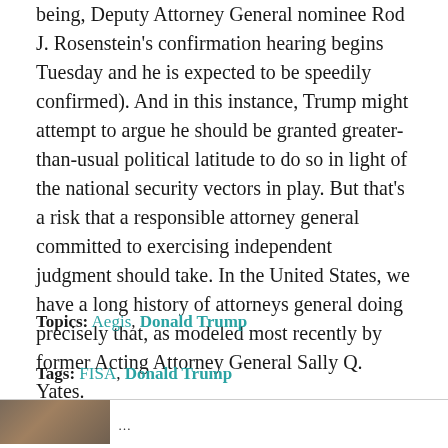being, Deputy Attorney General nominee Rod J. Rosenstein's confirmation hearing begins Tuesday and he is expected to be speedily confirmed). And in this instance, Trump might attempt to argue he should be granted greater-than-usual political latitude to do so in light of the national security vectors in play. But that's a risk that a responsible attorney general committed to exercising independent judgment should take. In the United States, we have a long history of attorneys general doing precisely that, as modeled most recently by former Acting Attorney General Sally Q. Yates.
Topics: Aegis, Donald Trump
Tags: FISA, Donald Trump